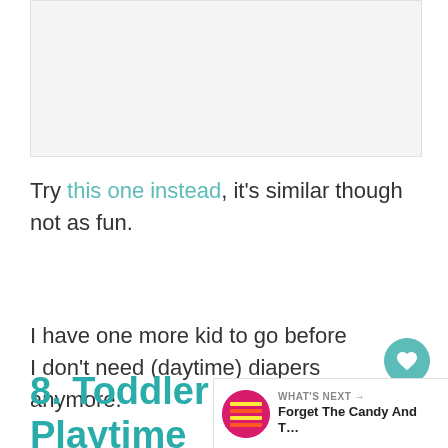[Figure (other): Advertisement placeholder banner at top of page]
Try this one instead, it's similar though not as fun.
I have one more kid to go before I don't need (daytime) diapers anymore.
8. Toddler Playtime Essentials